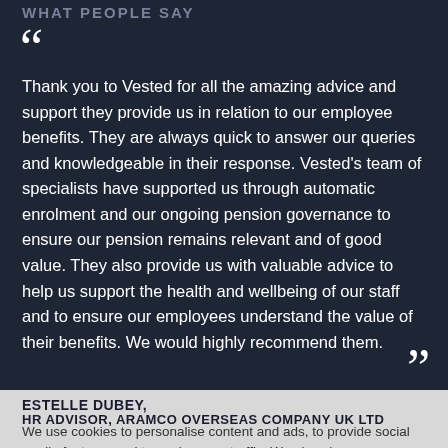WHAT PEOPLE SAY
Thank you to Vested for all the amazing advice and support they provide us in relation to our employee benefits. They are always quick to answer our queries and knowledgeable in their response. Vested's team of specialists have supported us through automatic enrolment and our ongoing pension governance to ensure our pension remains relevant and of good value. They also provide us with valuable advice to help us support the health and wellbeing of our staff and to ensure our employees understand the value of their benefits. We would highly recommend them.
ESTELLE DUBEY,
HR ADVISOR, ARAMCO OVERSEAS COMPANY UK LTD
We use cookies to personalise content and ads, to provide social media features and to analyse our traffic. We also share